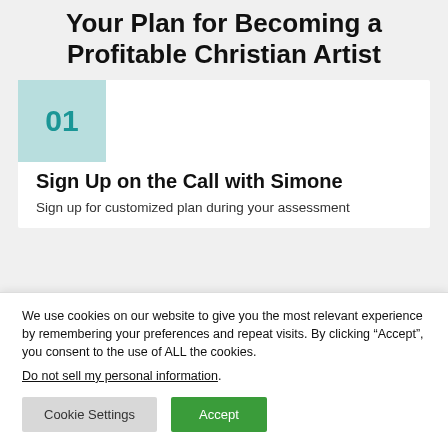Your Plan for Becoming a Profitable Christian Artist
01
Sign Up on the Call with Simone
Sign up for customized plan during your assessment
We use cookies on our website to give you the most relevant experience by remembering your preferences and repeat visits. By clicking “Accept”, you consent to the use of ALL the cookies.
Do not sell my personal information.
Cookie Settings
Accept